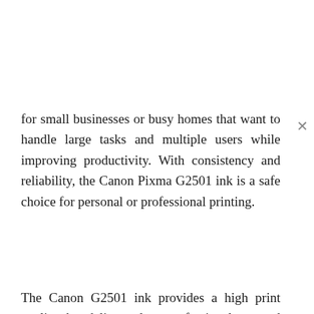for small businesses or busy homes that want to handle large tasks and multiple users while improving productivity. With consistency and reliability, the Canon Pixma G2501 ink is a safe choice for personal or professional printing.
The Canon G2501 ink provides a high print quality that delivers clear, professional text and crisp, live images. The Canon Pixma G2501 delivers sharp text documents regularly and also live photo prints. Borderless photo printing is easy, and a 4 x 6-inch color image can be produced per minute. Thanks to the forward ink cartridges that are included in this